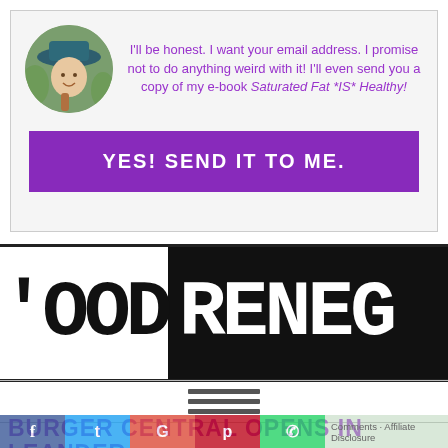[Figure (photo): Woman with hat and braid, circular avatar photo]
I'll be honest. I want your email address. I promise not to do anything weird with it! I'll even send you a copy of my e-book Saturated Fat *IS* Healthy!
[Figure (other): Purple button: YES! SEND IT TO ME.]
[Figure (logo): Food Renegade logo — black and white text banner showing 'OOD RENEG']
[Figure (other): Hamburger menu icon with three horizontal lines]
BURGER CENTRAL OPENS IN LEANDER
Comments · Affiliate Disclosure